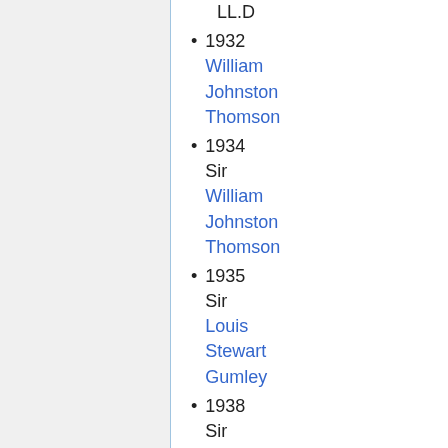LL.D
1932 William Johnston Thomson
1934 Sir William Johnston Thomson
1935 Sir Louis Stewart Gumley
1938 Sir Henry Steel
1941